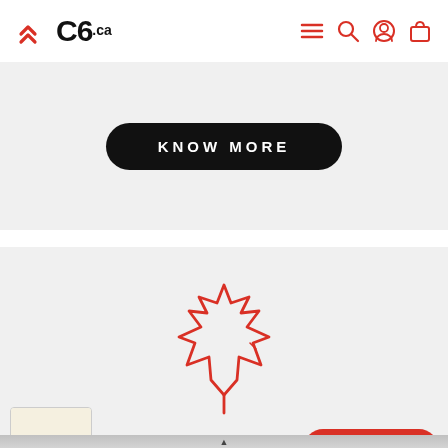[Figure (logo): C6.ca logo with red chevron arrows and navigation icons (hamburger menu, search, user, cart)]
[Figure (screenshot): Black rounded pill button with white uppercase text KNOW MORE on a light grey background]
[Figure (illustration): Red outline maple leaf icon centered on light grey background]
[Figure (screenshot): Bottom sticky cart bar: product thumbnail image of a face mask, price $4.99 CAD, red ADD TO CART pill button]